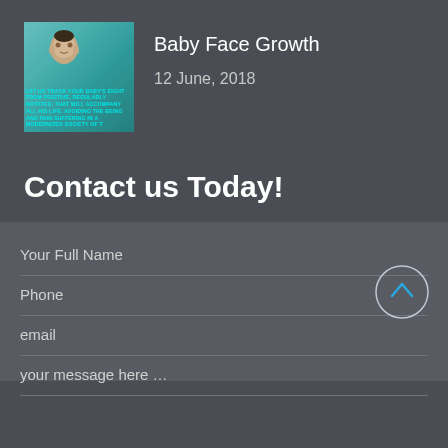[Figure (photo): Thumbnail image of a baby face with teal/cyan colored overlay text about growth]
Baby Face Growth
12 June, 2018
Contact us Today!
Your Full Name
Phone
email
your message here …